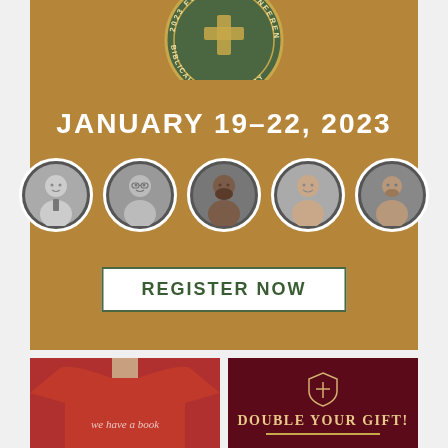[Figure (infographic): Founders Conference promotional banner with circular badge top reading '2023 Founders Conference Biblical Anthropology', date 'January 19-22, 2023', five circular black-and-white speaker portraits in a row, and a 'Register Now' button. Background is a warm tan/brown color.]
[Figure (photo): Person wearing a red/burgundy t-shirt from behind, with text partially visible reading 'we have a book']
[Figure (infographic): Dark maroon/burgundy promotional image with a shield-cross logo and text reading 'DOUBLE YOUR GIFT!' with a decorative gold underline]